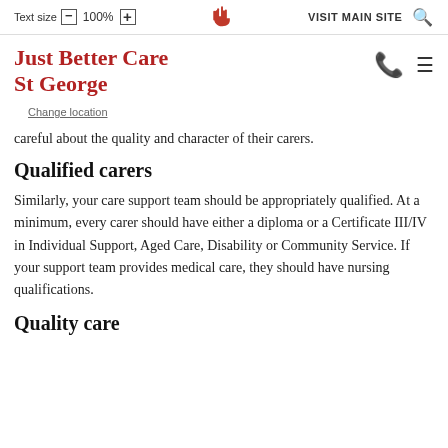Text size  −  100%  +    VISIT MAIN SITE  🔍
Just Better Care
St George
Change location
careful about the quality and character of their carers.
Qualified carers
Similarly, your care support team should be appropriately qualified. At a minimum, every carer should have either a diploma or a Certificate III/IV in Individual Support, Aged Care, Disability or Community Service. If your support team provides medical care, they should have nursing qualifications.
Quality care